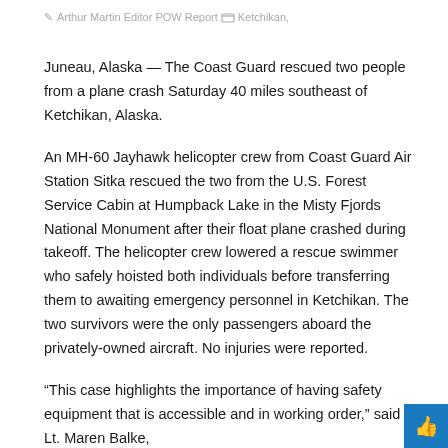Arthur Martin Editor POW Report  Ketchikan,
Juneau, Alaska — The Coast Guard rescued two people from a plane crash Saturday 40 miles southeast of Ketchikan, Alaska.
An MH-60 Jayhawk helicopter crew from Coast Guard Air Station Sitka rescued the two from the U.S. Forest Service Cabin at Humpback Lake in the Misty Fjords National Monument after their float plane crashed during takeoff. The helicopter crew lowered a rescue swimmer who safely hoisted both individuals before transferring them to awaiting emergency personnel in Ketchikan. The two survivors were the only passengers aboard the privately-owned aircraft. No injuries were reported.
“This case highlights the importance of having safety equipment that is accessible and in working order,” said Lt. Maren Balke,